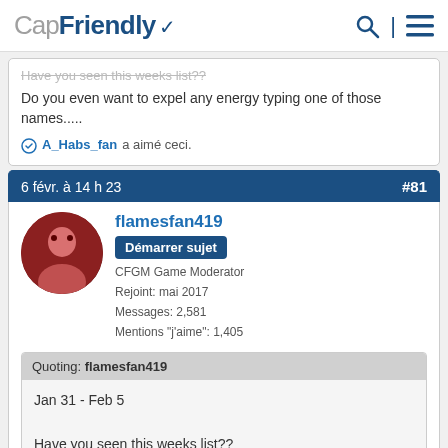CapFriendly
Have you seen this weeks list??
Do you even want to expel any energy typing one of those names.....
A_Habs_fan a aimé ceci.
6 févr. à 14 h 23  #81
flamesfan419
Démarrer sujet
CFGM Game Moderator
Rejoint: mai 2017
Messages: 2,581
Mentions "j'aime": 1,405
Quoting: flamesfan419
Jan 31 - Feb 5
Have you seen this weeks list??
Do you even want to expel any energy typing one of those names.....